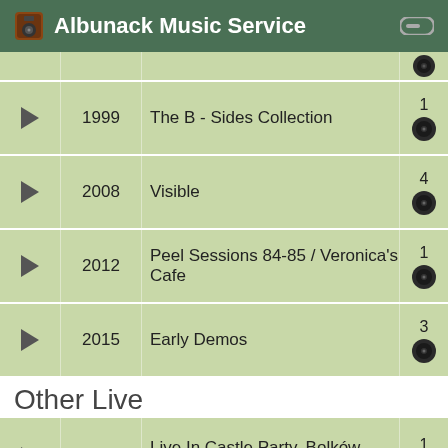Albunack Music Service
| Play | Year | Title | Count |
| --- | --- | --- | --- |
| ► | 1999 | The B - Sides Collection | 1 |
| ► | 2008 | Visible | 4 |
| ► | 2012 | Peel Sessions 84-85 / Veronica's Cafe | 1 |
| ► | 2015 | Early Demos | 3 |
Other Live
| Play | Year | Title | Count |
| --- | --- | --- | --- |
| ► |  | Live In Castle Party, Bolków Poland, Sunday 28. July 2002 | 1 |
Other Compilation